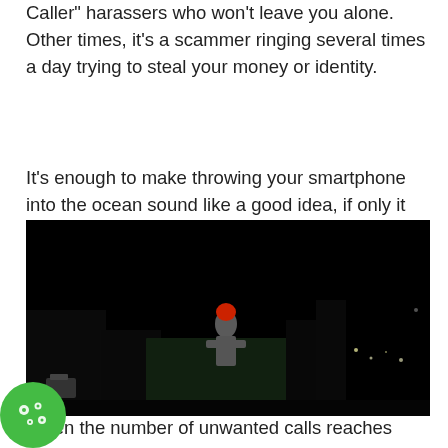Caller" harassers who won't leave you alone. Other times, it's a scammer ringing several times a day trying to steal your money or identity.
It's enough to make throwing your smartphone into the ocean sound like a good idea, if only it didn't cost so much.
[Figure (photo): Dark night scene with a person wearing a red hat standing outdoors, city lights visible in the background.]
When the number of unwanted calls reaches three,